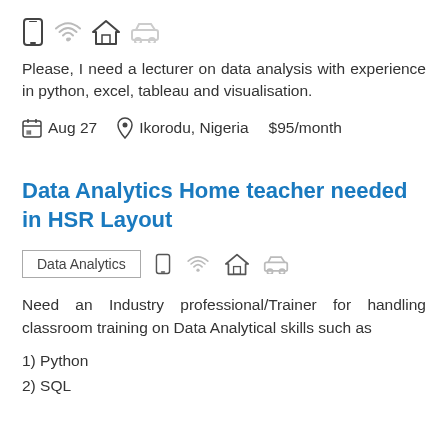[Figure (infographic): Row of icons: mobile phone, wifi, house, car]
Please, I need a lecturer on data analysis with experience in python, excel, tableau and visualisation.
Aug 27   Ikorodu, Nigeria   $95/month
Data Analytics Home teacher needed in HSR Layout
Data Analytics  [icons: mobile, wifi, house, car]
Need an Industry professional/Trainer for handling classroom training on Data Analytical skills such as
1) Python
2) SQL